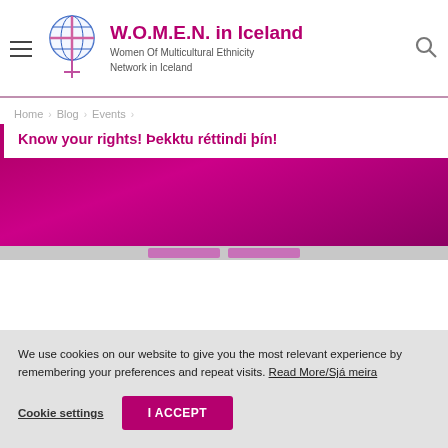W.O.M.E.N. in Iceland — Women Of Multicultural Ethnicity Network in Iceland
Home > Blog > Events
Know your rights! Þekktu réttindi þín!
[Figure (photo): Magenta/pink gradient hero image area with partial button elements visible at the bottom]
We use cookies on our website to give you the most relevant experience by remembering your preferences and repeat visits. Read More/Sjá meira
Cookie settings   I ACCEPT